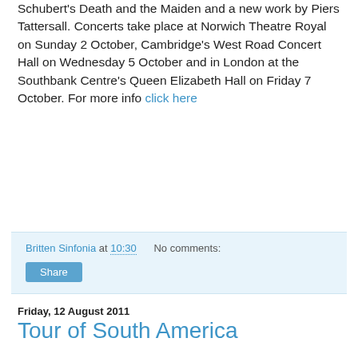Schubert's Death and the Maiden and a new work by Piers Tattersall. Concerts take place at Norwich Theatre Royal on Sunday 2 October, Cambridge's West Road Concert Hall on Wednesday 5 October and in London at the Southbank Centre's Queen Elizabeth Hall on Friday 7 October. For more info click here
Britten Sinfonia at 10:30   No comments:
Share
Friday, 12 August 2011
Tour of South America
I'm snatching some time prior to boarding my (14 hour) flight home to London from Buenos Aires. The orchestra meanwhile, after two concerts at the Theatro Colon and with concerts in Rio and Sao Paulo, behind them now sets off...